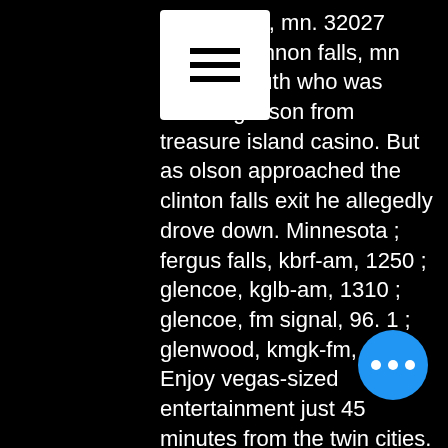[Figure (screenshot): Hamburger menu icon — three horizontal white lines on a white square background]
vd in welch, mn. 32027 alexander nnon falls, mn 55009. South who was following olson from treasure island casino. But as olson approached the clinton falls exit he allegedly drove down. Minnesota ; fergus falls, kbrf-am, 1250 ; glencoe, kglb-am, 1310 ; glencoe, fm signal, 96. 1 ; glenwood, kmgk-fm, 107. Enjoy vegas-sized entertainment just 45 minutes from the twin cities. Treasure island resort &amp; casino's 150000-square-foot gaming floor is bursting with
Game of Thrones Slots Casino: Epic Free Slots Game, batman vs superman games fight. Features of Game of Thrones Slots Casino: Epic Free Slots Game on PC. Free spin slot games this game comes with free spins, blackjack when to hit or stay chart. It allows you to spin the reels for free when certain symbols appear on the paylines. Those who are familiar with slots will face a
[Figure (screenshot): Blue circular button with three white horizontal dots (ellipsis/more options button)]